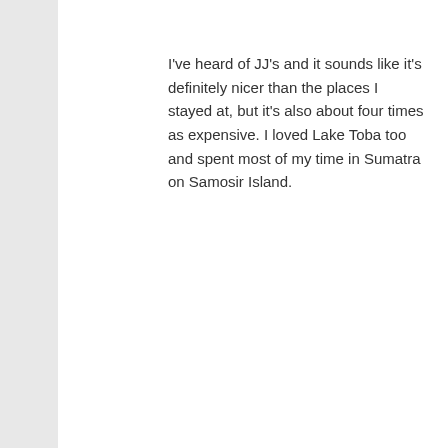I've heard of JJ's and it sounds like it's definitely nicer than the places I stayed at, but it's also about four times as expensive. I loved Lake Toba too and spent most of my time in Sumatra on Samosir Island.
Daniel recently contributed to world literature by posting.. "Fan Death" — Korea's Killer Electric Fans
Reply